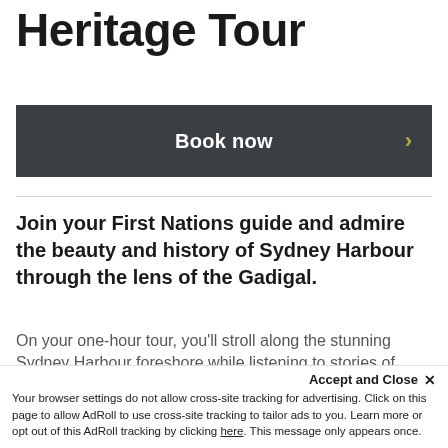Heritage Tour
Book now
Join your First Nations guide and admire the beauty and history of Sydney Harbour through the lens of the Gadigal.
On your one-hour tour, you'll stroll along the stunning Sydney Harbour foreshore while listening to stories of Gadigal lifestyle, traditions, history and connection to
Accept and Close ✕ Your browser settings do not allow cross-site tracking for advertising. Click on this page to allow AdRoll to use cross-site tracking to tailor ads to you. Learn more or opt out of this AdRoll tracking by clicking here. This message only appears once.